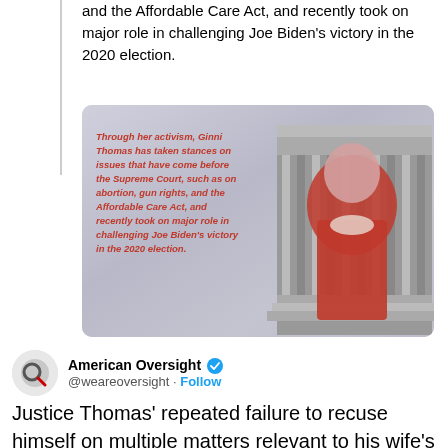and the Affordable Care Act, and recently took on major role in challenging Joe Biden's victory in the 2020 election.
[Figure (photo): Composite image on crumpled paper background showing Ginni Thomas in red with Supreme Court building in background, overlaid with bold italic red text quoting activism and stances on abortion, gun rights, Affordable Care Act, and challenging the 2020 election.]
American Oversight @weareoversight · Follow
Justice Thomas' repeated failure to recuse himself on multiple matters relevant to his wife's advocacy, especially as the court hears increasingly politically polarized cases, has been the subject of scrutiny. Learn more about these ethics concerns: